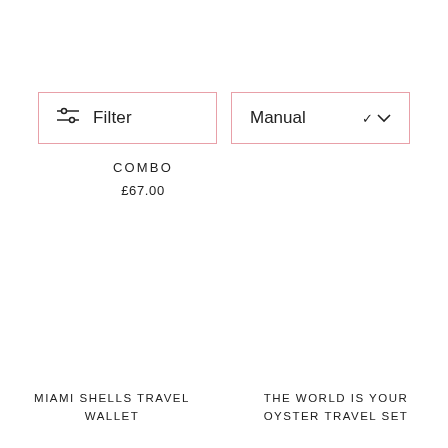Filter
Manual
COMBO
£67.00
MIAMI SHELLS TRAVEL WALLET
THE WORLD IS YOUR OYSTER TRAVEL SET